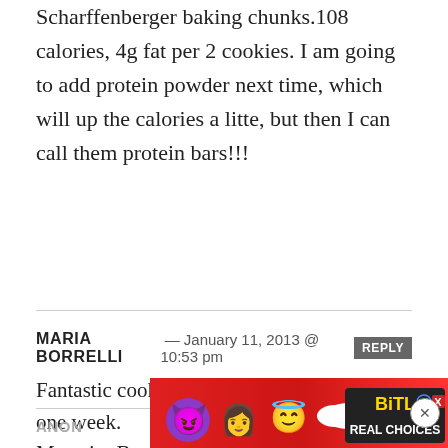Scharffenberger baking chunks.108 calories, 4g fat per 2 cookies. I am going to add protein powder next time, which will up the calories a litte, but then I can call them protein bars!!!
MARIA BORRELLI — January 11, 2013 @ 10:53 pm REPLY
Fantastic cookie! I've made them twice in one week. My spin: Brummel & Brown "butter" and Egg Beaters. They turn out perfect. Thanks ST.
ANON
[Figure (other): BitLife Real Choices advertisement banner with colorful emoji characters on a red background]